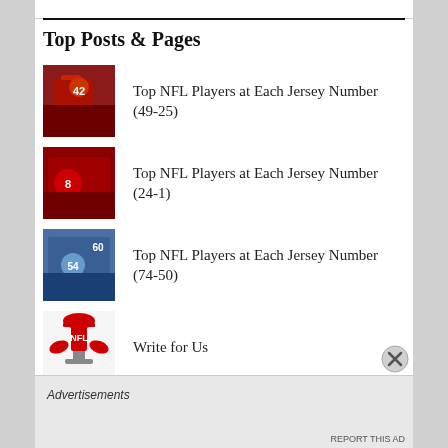Top Posts & Pages
Top NFL Players at Each Jersey Number (49-25)
Top NFL Players at Each Jersey Number (24-1)
Top NFL Players at Each Jersey Number (74-50)
Write for Us
Advertisements